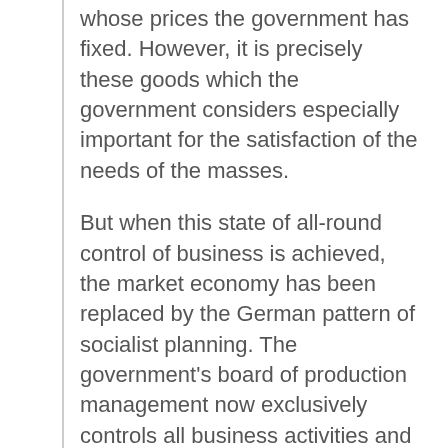whose prices the government has fixed. However, it is precisely these goods which the government considers especially important for the satisfaction of the needs of the masses.
But when this state of all-round control of business is achieved, the market economy has been replaced by the German pattern of socialist planning. The government's board of production management now exclusively controls all business activities and decides how the means of production—men and material resources—must be used.